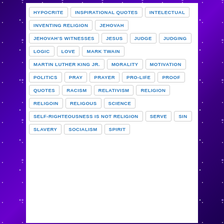[Figure (other): Purple/violet starry night sky background on left and right sides of the page]
HYPOCRITE
INSPIRATIONAL QUOTES
INTELECTUAL
INVENTING RELIGION
JEHOVAH
JEHOVAH'S WITNESSES
JESUS
JUDGE
JUDGING
LOGIC
LOVE
MARK TWAIN
MARTIN LUTHER KING JR.
MORALITY
MOTIVATION
POLITICS
PRAY
PRAYER
PRO-LIFE
PROOF
QUOTES
RACISM
RELATIVISM
RELIGION
RELIGOIN
RELIGOUS
SCIENCE
SELF-RIGHTEOUSNESS IS NOT RELIGION
SERVE
SIN
SLAVERY
SOCIALISM
SPIRIT